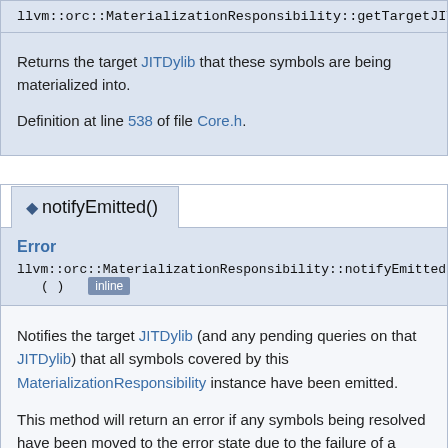llvm::orc::MaterializationResponsibility::getTargetJITDylib ( ) const
Returns the target JITDylib that these symbols are being materialized into.
Definition at line 538 of file Core.h.
◆ notifyEmitted()
Error
llvm::orc::MaterializationResponsibility::notifyEmitted ( ) inline
Notifies the target JITDylib (and any pending queries on that JITDylib) that all symbols covered by this MaterializationResponsibility instance have been emitted.
This method will return an error if any symbols being resolved have been moved to the error state due to the failure of a dependency. If this method returns an error then clients should